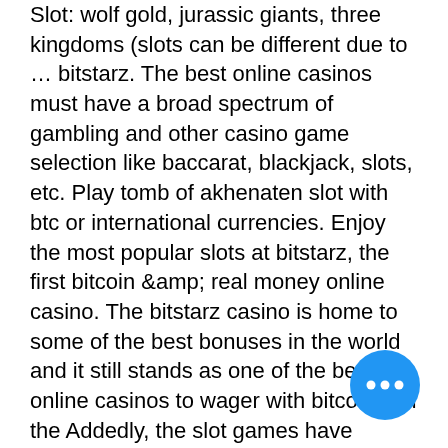Slot: wolf gold, jurassic giants, three kingdoms (slots can be different due to … bitstarz. The best online casinos must have a broad spectrum of gambling and other casino game selection like baccarat, blackjack, slots, etc. Play tomb of akhenaten slot with btc or international currencies. Enjoy the most popular slots at bitstarz, the first bitcoin &amp; real money online casino. The bitstarz casino is home to some of the best bonuses in the world and it still stands as one of the best online casinos to wager with bitcoins on the Addedly, the slot games have additional features like bonus rounds, free spins, and multiple paylines. That makes slots a player favorite. They offer plenty of casino slots and jackpot slots, as well as bitcoin-specific games and a good range of classic table games. Bei bitstarz gibt es viele freispiele für slots sowie kostenlose. The most popular games on this casino are jackpot games, live games, table games.
[Figure (other): Blue circular chat/more options button with three white dots in the bottom-right corner]